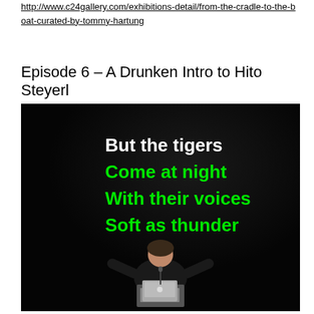http://www.c24gallery.com/exhibitions-detail/from-the-cradle-to-the-boat-curated-by-tommy-hartung
Episode 6 – A Drunken Intro to Hito Steyerl
[Figure (photo): A person (Hito Steyerl) standing at a podium with a laptop, speaking at a lecture. Behind her is a dark projection screen displaying green bold text reading: 'But the tigers / Come at night / With their voices / Soft as thunder'. The text is in bright green on a black background in a bold sans-serif font. The speaker is partially illuminated, wearing dark clothing.]